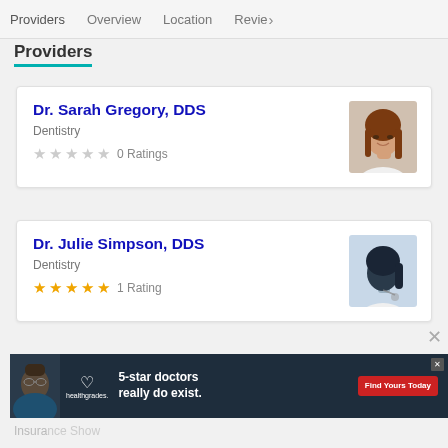Providers  Overview  Location  Reviews
Providers
Dr. Sarah Gregory, DDS
Dentistry
0 Ratings
[Figure (photo): Headshot photo of Dr. Sarah Gregory, a woman with long auburn hair, smiling, in professional attire.]
Dr. Julie Simpson, DDS
Dentistry
1 Rating
[Figure (photo): Silhouette/placeholder photo of Dr. Julie Simpson, showing a generic doctor silhouette with dark hair and white coat.]
[Figure (screenshot): Healthgrades advertisement banner: '5-star doctors really do exist. Find Yours Today' with a photo of a doctor wearing glasses.]